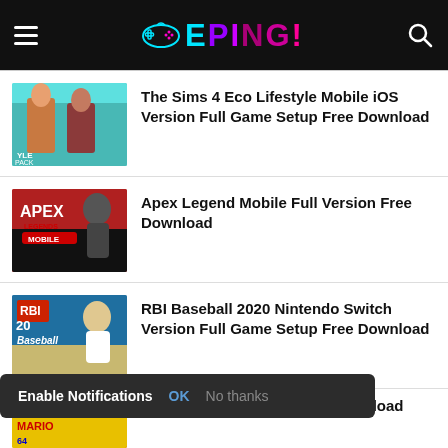GEPINGI
The Sims 4 Eco Lifestyle Mobile iOS Version Full Game Setup Free Download
Apex Legend Mobile Full Version Free Download
RBI Baseball 2020 Nintendo Switch Version Full Game Setup Free Download
Enable Notifications  OK  No thanks
...ndroid Full Version Free Download